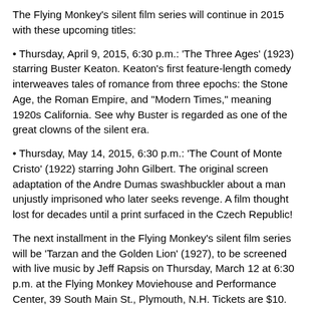The Flying Monkey's silent film series will continue in 2015 with these upcoming titles:
• Thursday, April 9, 2015, 6:30 p.m.: 'The Three Ages' (1923) starring Buster Keaton. Keaton's first feature-length comedy interweaves tales of romance from three epochs: the Stone Age, the Roman Empire, and "Modern Times," meaning 1920s California. See why Buster is regarded as one of the great clowns of the silent era.
• Thursday, May 14, 2015, 6:30 p.m.: 'The Count of Monte Cristo' (1922) starring John Gilbert. The original screen adaptation of the Andre Dumas swashbuckler about a man unjustly imprisoned who later seeks revenge. A film thought lost for decades until a print surfaced in the Czech Republic!
The next installment in the Flying Monkey's silent film series will be 'Tarzan and the Golden Lion' (1927), to be screened with live music by Jeff Rapsis on Thursday, March 12 at 6:30 p.m. at the Flying Monkey Moviehouse and Performance Center, 39 South Main St., Plymouth, N.H. Tickets are $10.